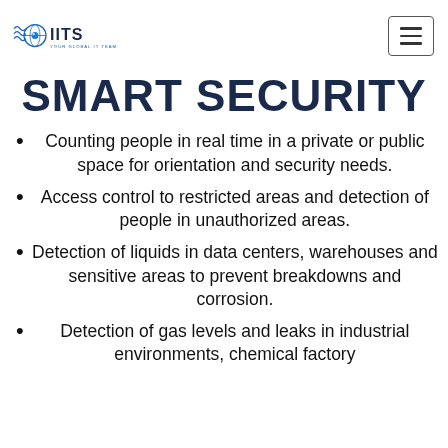OIITS — YOUR GLOBAL IT TEAM
SMART SECURITY
Counting people in real time in a private or public space for orientation and security needs.
Access control to restricted areas and detection of people in unauthorized areas.
Detection of liquids in data centers, warehouses and sensitive areas to prevent breakdowns and corrosion.
Detection of gas levels and leaks in industrial environments, chemical factory